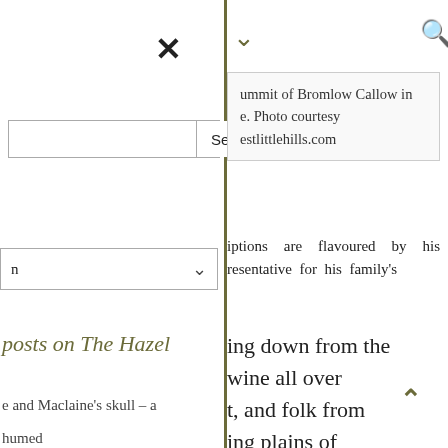×
Search
n ∨
ummit of Bromlow Callow in e. Photo courtesy estlittlehills.com
iptions are flavoured by his resentative for his family's
posts on The Hazel
ing down from the wine all over t, and folk from ing plains of come for a brace- such as 'The 's Arms' at New
e and Maclaine's skull – a
humed